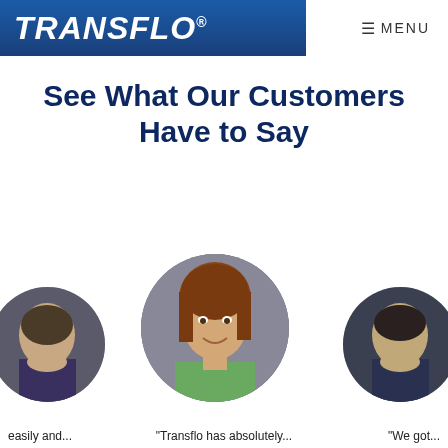TRANSFLO® | ☰ MENU
See What Our Customers Have to Say
[Figure (photo): Three circular portrait photos of customers arranged in a row: a partially visible person on the left, a smiling woman with brown hair in a green top in the center, and a partially visible person on the right.]
easily and...
"Transflo has absolutely...
"We got...